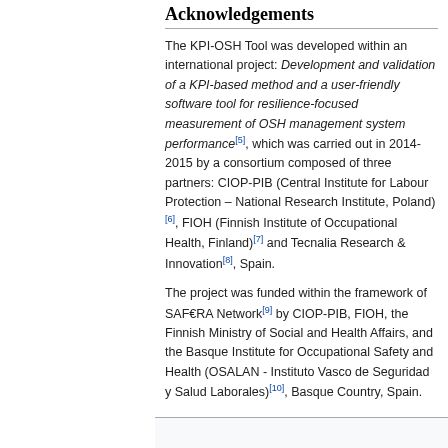Acknowledgements
The KPI-OSH Tool was developed within an international project: Development and validation of a KPI-based method and a user-friendly software tool for resilience-focused measurement of OSH management system performance[5], which was carried out in 2014-2015 by a consortium composed of three partners: CIOP-PIB (Central Institute for Labour Protection – National Research Institute, Poland)[6], FIOH (Finnish Institute of Occupational Health, Finland)[7] and Tecnalia Research & Innovation[8], Spain.
The project was funded within the framework of SAF€RA Network[9] by CIOP-PIB, FIOH, the Finnish Ministry of Social and Health Affairs, and the Basque Institute for Occupational Safety and Health (OSALAN - Instituto Vasco de Seguridad y Salud Laborales)[10], Basque Country, Spain.